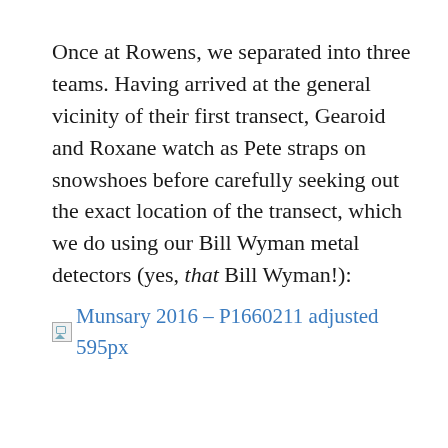Once at Rowens, we separated into three teams. Having arrived at the general vicinity of their first transect, Gearoid and Roxane watch as Pete straps on snowshoes before carefully seeking out the exact location of the transect, which we do using our Bill Wyman metal detectors (yes, that Bill Wyman!):
[Figure (other): Broken image placeholder link with alt text: Munsary 2016 - P1660211 adjusted 595px]